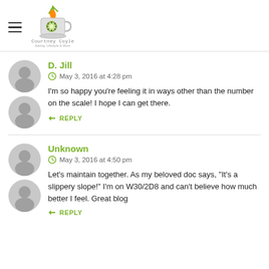Courtney Coyle blog header with logo
D. Jill
May 3, 2016 at 4:28 pm
I'm so happy you're feeling it in ways other than the number on the scale! I hope I can get there.
Unknown
May 3, 2016 at 4:50 pm
Let's maintain together. As my beloved doc says, "It's a slippery slope!" I'm on W30/2D8 and can't believe how much better I feel. Great blog